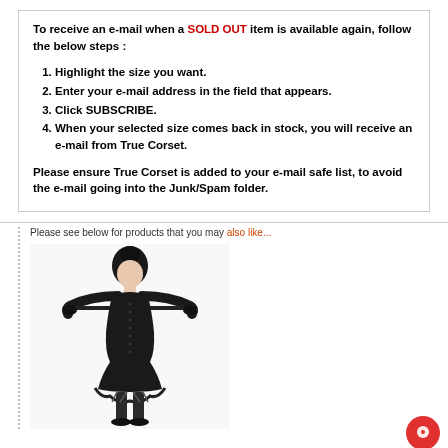To receive an e-mail when a SOLD OUT item is available again, follow the below steps :
Highlight the size you want.
Enter your e-mail address in the field that appears.
Click SUBSCRIBE.
When your selected size comes back in stock, you will receive an e-mail from True Corset.
Please ensure True Corset is added to your e-mail safe list, to avoid the e-mail going into the Junk/Spam folder.
Please see below for products that you may also like...
[Figure (photo): A woman wearing a black corset, black gloves, and a black skirt, holding a rod in her mouth with both hands raised.]